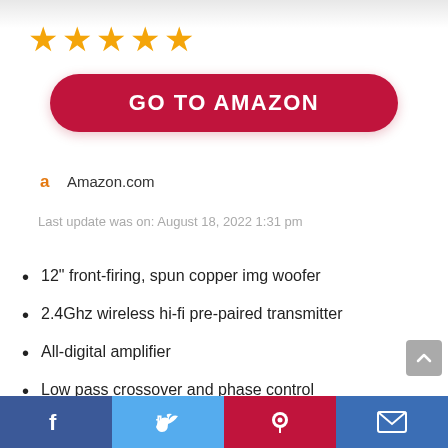[Figure (other): 5 gold star rating icons]
GO TO AMAZON
Amazon.com
Last update was on: August 18, 2022 1:31 pm
12" front-firing, spun copper img woofer
2.4Ghz wireless hi-fi pre-paired transmitter
All-digital amplifier
Low pass crossover and phase control
Strong, flexible, removable grille
Facebook | Twitter | Pinterest | Email